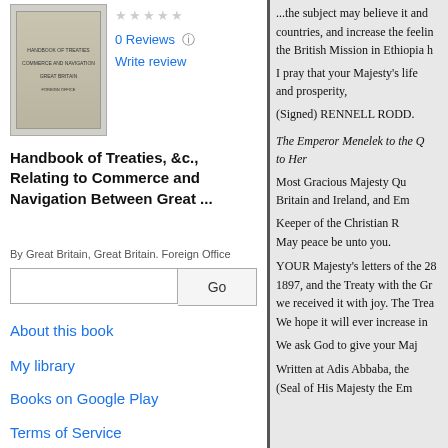[Figure (illustration): Book cover thumbnail for Handbook of Treaties]
0 Reviews  Write review
Handbook of Treaties, &c., Relating to Commerce and Navigation Between Great ...
By Great Britain, Great Britain. Foreign Office
About this book
My library
Books on Google Play
Terms of Service
...the subject may believe it and countries, and increase the feeling of the British Mission in Ethiopia h

I pray that your Majesty's life and prosperity,

(Signed) RENNELL RODD.

The Emperor Menelek to the Queen, to Her

Most Gracious Majesty Queen of Britain and Ireland, and Em...

Keeper of the Christian R... May peace be unto you.

YOUR Majesty's letters of the 28... 1897, and the Treaty with the Gr... we received it with joy. The Trea... We hope it will ever increase in

We ask God to give your Maj...

Written at Adis Abbaba, the... (Seal of His Majesty the Em...